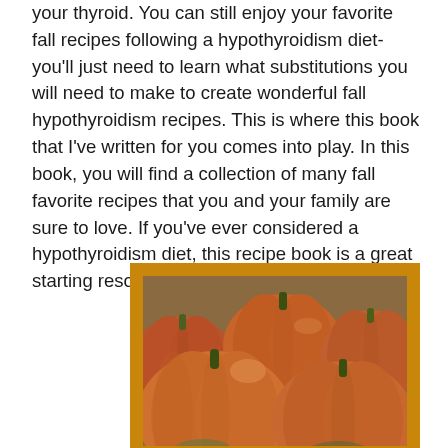your thyroid. You can still enjoy your favorite fall recipes following a hypothyroidism diet- you'll just need to learn what substitutions you will need to make to create wonderful fall hypothyroidism recipes. This is where this book that I've written for you comes into play. In this book, you will find a collection of many fall favorite recipes that you and your family are sure to love. If you've ever considered a hypothyroidism diet, this recipe book is a great starting resource.
[Figure (photo): A photograph of several orange pumpkins piled together, displayed within a golden-brown/amber colored frame border.]